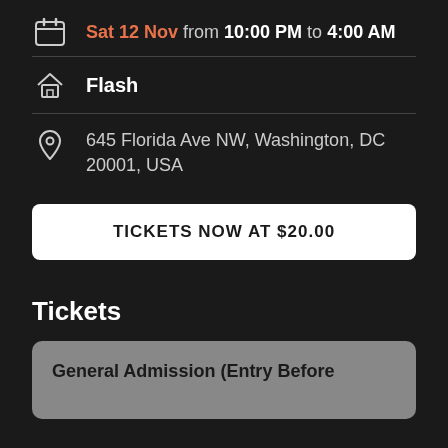Sat 12 Nov from 10:00 PM to 4:00 AM
Flash
645 Florida Ave NW, Washington, DC 20001, USA
TICKETS NOW AT $20.00
Tickets
General Admission (Entry Before